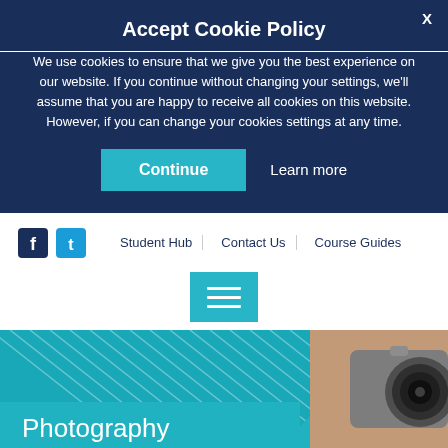Accept Cookie Policy
We use cookies to ensure that we give you the best experience on our website. If you continue without changing your settings, we'll assume that you are happy to receive all cookies on this website. However, if you can change your cookies settings at any time.
Continue | Learn more
[Figure (screenshot): Navigation bar with Facebook and Twitter icons, Student Hub, Contact Us, Course Guides links, and a teal hamburger menu button]
[Figure (photo): Hero image with diagonal teal stripe pattern on left and a hand holding a vintage camera on the right, with a teal 'Photography' label at bottom left]